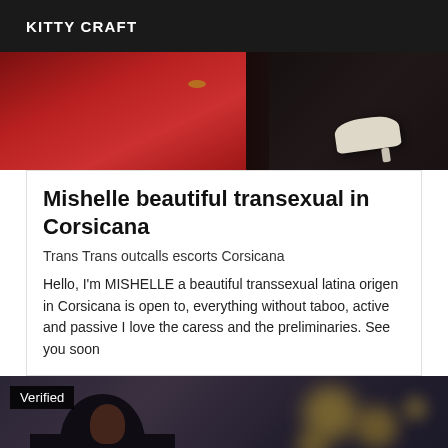KITTY CRAFT
[Figure (photo): Top portion showing red fabric and a white high-heeled shoe on dark floor]
Mishelle beautiful transexual in Corsicana
Trans Trans outcalls escorts Corsicana
Hello, I'm MISHELLE a beautiful transsexual latina origen in Corsicana is open to, everything without taboo, active and passive I love the caress and the preliminaries. See you soon
[Figure (photo): Bottom photo with Verified badge, dark background with bokeh lights and a person silhouette]